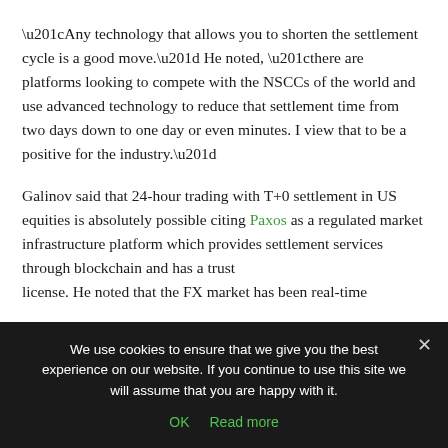“Any technology that allows you to shorten the settlement cycle is a good move.” He noted, “there are platforms looking to compete with the NSCCs of the world and use advanced technology to reduce that settlement time from two days down to one day or even minutes. I view that to be a positive for the industry.”
Galinov said that 24-hour trading with T+0 settlement in US equities is absolutely possible citing Paxos as a regulated market infrastructure platform which provides settlement services through blockchain and has a trust license. He noted that the FX market has been real-time...
We use cookies to ensure that we give you the best experience on our website. If you continue to use this site we will assume that you are happy with it.
OK   Read more